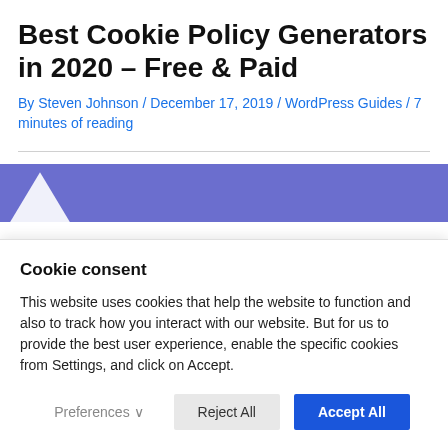Best Cookie Policy Generators in 2020 – Free & Paid
By Steven Johnson / December 17, 2019 / WordPress Guides / 7 minutes of reading
[Figure (illustration): Purple/blue banner hero image with a white triangular shape at the bottom left corner.]
Cookie consent
This website uses cookies that help the website to function and also to track how you interact with our website. But for us to provide the best user experience, enable the specific cookies from Settings, and click on Accept.